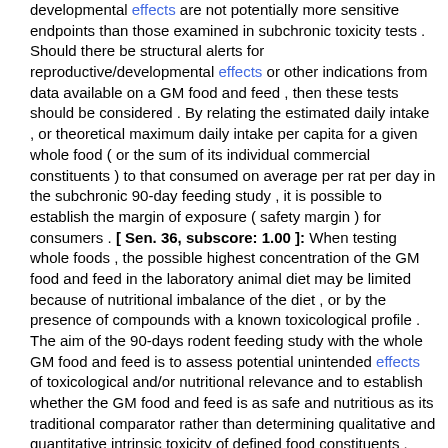developmental effects are not potentially more sensitive endpoints than those examined in subchronic toxicity tests . Should there be structural alerts for reproductive/developmental effects or other indications from data available on a GM food and feed , then these tests should be considered . By relating the estimated daily intake , or theoretical maximum daily intake per capita for a given whole food ( or the sum of its individual commercial constituents ) to that consumed on average per rat per day in the subchronic 90-day feeding study , it is possible to establish the margin of exposure ( safety margin ) for consumers . [ Sen. 36, subscore: 1.00 ]: When testing whole foods , the possible highest concentration of the GM food and feed in the laboratory animal diet may be limited because of nutritional imbalance of the diet , or by the presence of compounds with a known toxicological profile . The aim of the 90-days rodent feeding study with the whole GM food and feed is to assess potential unintended effects of toxicological and/or nutritional relevance and to establish whether the GM food and feed is as safe and nutritious as its traditional comparator rather than determining qualitative and quantitative intrinsic toxicity of defined food constituents . The design of the study should be adapted from the OECD 90-day rodent toxicity study . The precise study design has to take into account the nature of the food and feed and the characteristics of the new trait ( s ) and their intended role in the GM food and feed . A 90-day animal feeding trial has a large capacity ( sensitivity and specificity ) to detect potential toxicological effects of single well defined compounds . This can be concluded from data reported on the toxicology of a wide range of industrial chemicals , pharmaceuticals , food substances , environmental , and agricultural chemicals . It is possible to model the sensitivity of the rat subchronic feeding study for the detection of hypothetically increased amount of compounds such as anti-nutrients , toxicants or secondary metabolites . With respect to the detection of